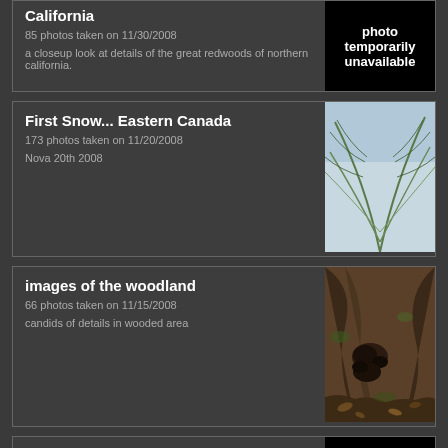California
85 photos taken on 11/30/2008
a closeup look at details of the great redwoods of northern california.
[photo temporarily unavailable]
First Snow... Eastern Canada
173 photos taken on 11/20/2008
Nova 20th 2008
images of the woodland
66 photos taken on 11/15/2008
candids of details in wooded area
furry critters Canadian Woodland
292 photos taken on 10/30/2008
[photo temporarily unavailable]